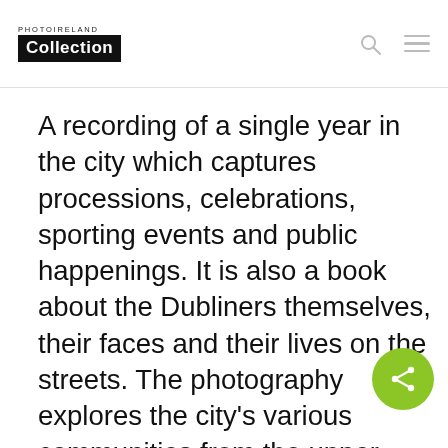PHOTOIRELAND Collection
A recording of a single year in the city which captures processions, celebrations, sporting events and public happenings. It is also a book about the Dubliners themselves, their faces and their lives on the streets. The photography explores the city's various communities from the upper classes at play at the Trinity Regatta to the children who beg on O'Connell Bridge, from native writers like Seamus Heaney and Sean O'Faolain to the politicians,